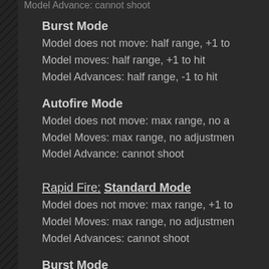Burst Mode
Model does not move: half range, +1 to
Model moves: half range, +1 to hit
Model Advances: half range, -1 to hit
Autofire Mode
Model does not move: max range, no a
Model Moves: max range, no adjustmen
Model Advance: cannot shoot
Rapid Fire: Standard Mode
Model does not move: max range, +1 to
Model Moves: max range, no adjustmen
Model Advances: cannot shoot
Burst Mode